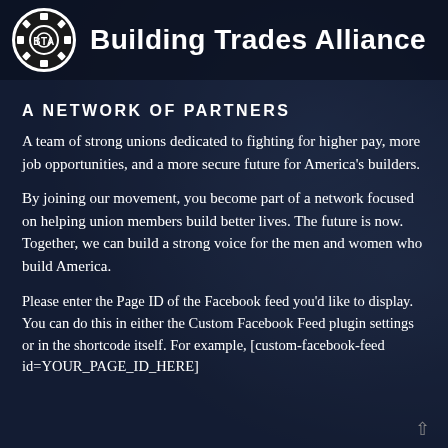BTA Building Trades Alliance
A NETWORK OF PARTNERS
A team of strong unions dedicated to fighting for higher pay, more job opportunities, and a more secure future for America’s builders.
By joining our movement, you become part of a network focused on helping union members build better lives. The future is now. Together, we can build a strong voice for the men and women who build America.
Please enter the Page ID of the Facebook feed you’d like to display. You can do this in either the Custom Facebook Feed plugin settings or in the shortcode itself. For example, [custom-facebook-feed id=YOUR_PAGE_ID_HERE]